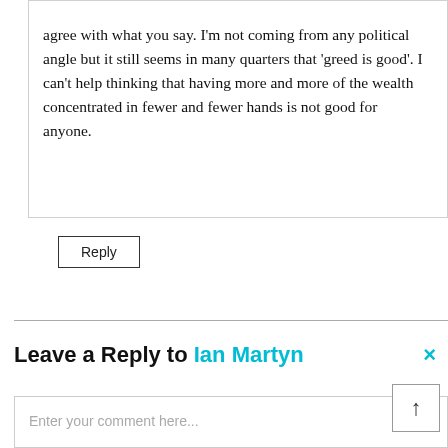agree with what you say. I'm not coming from any political angle but it still seems in many quarters that 'greed is good'. I can't help thinking that having more and more of the wealth concentrated in fewer and fewer hands is not good for anyone.
Reply
Leave a Reply to Ian Martyn ×
Enter your comment here...